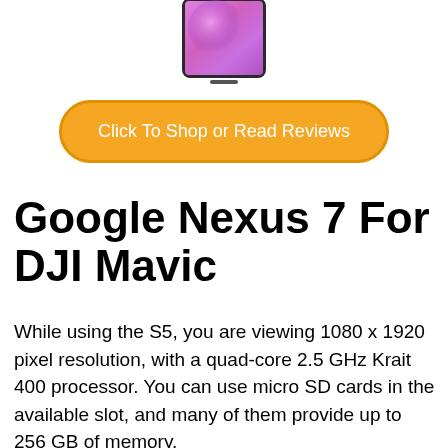[Figure (photo): Bottom portion of a smartphone with a pink/purple floral wallpaper displayed on its screen, shown from the front, dark bezels visible at the bottom.]
Click To Shop or Read Reviews
Google Nexus 7 For DJI Mavic
While using the S5, you are viewing 1080 x 1920 pixel resolution, with a quad-core 2.5 GHz Krait 400 processor. You can use micro SD cards in the available slot, and many of them provide up to 256 GB of memory.